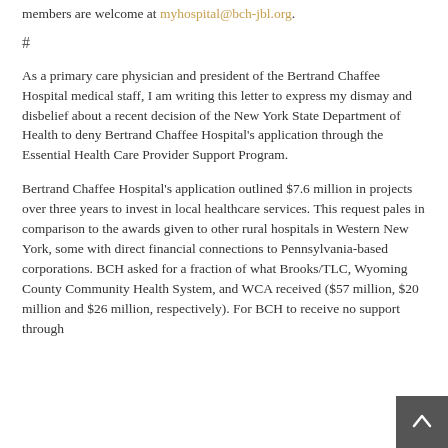members are welcome at myhospital@bch-jbl.org.
#
As a primary care physician and president of the Bertrand Chaffee Hospital medical staff, I am writing this letter to express my dismay and disbelief about a recent decision of the New York State Department of Health to deny Bertrand Chaffee Hospital's application through the Essential Health Care Provider Support Program.
Bertrand Chaffee Hospital's application outlined $7.6 million in projects over three years to invest in local healthcare services. This request pales in comparison to the awards given to other rural hospitals in Western New York, some with direct financial connections to Pennsylvania-based corporations. BCH asked for a fraction of what Brooks/TLC, Wyoming County Community Health System, and WCA received ($57 million, $20 million and $26 million, respectively). For BCH to receive no support through